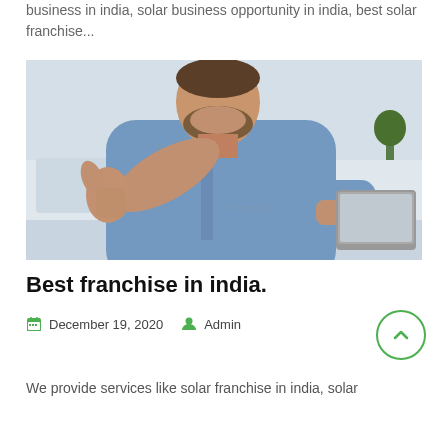business in india, solar business opportunity in india, best solar franchise...
[Figure (photo): Man in blue shirt extending hand with thumbs up gesture, laptop visible, indoor office/home setting]
Best franchise in india.
December 19, 2020   Admin
We provide services like solar franchise in india, solar